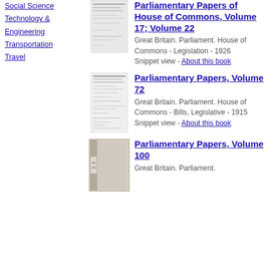Social Science
Technology & Engineering
Transportation
Travel
[Figure (photo): Thumbnail of book cover for Parliamentary Papers of House of Commons, Volume 17; Volume 22]
Parliamentary Papers of House of Commons, Volume 17; Volume 22
Great Britain. Parliament. House of Commons - Legislation - 1926 Snippet view - About this book
[Figure (photo): Thumbnail of book cover for Parliamentary Papers, Volume 72]
Parliamentary Papers, Volume 72
Great Britain. Parliament. House of Commons - Bills, Legislative - 1915 Snippet view - About this book
[Figure (photo): Thumbnail photo for Parliamentary Papers, Volume 100]
Parliamentary Papers, Volume 100
Great Britain. Parliament.